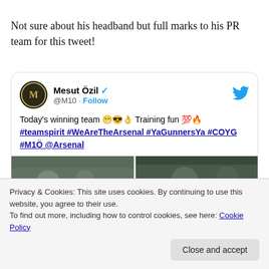Not sure about his headband but full marks to his PR team for this tweet!
[Figure (screenshot): Embedded tweet from Mesut Özil (@M10) with verified badge and Follow button. Tweet text: 'Today's winning team 😁😎👌 Training fun 💯🔥 #teamspirit #WeAreTheArsenal #YaGunnersYa #COYG #M1Ö @Arsenal'. Two training ground photos below the text.]
Privacy & Cookies: This site uses cookies. By continuing to use this website, you agree to their use.
To find out more, including how to control cookies, see here: Cookie Policy
Close and accept